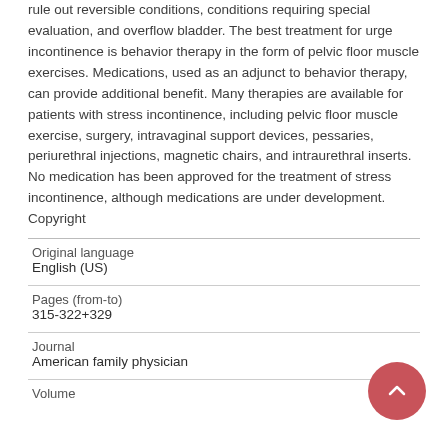rule out reversible conditions, conditions requiring special evaluation, and overflow bladder. The best treatment for urge incontinence is behavior therapy in the form of pelvic floor muscle exercises. Medications, used as an adjunct to behavior therapy, can provide additional benefit. Many therapies are available for patients with stress incontinence, including pelvic floor muscle exercise, surgery, intravaginal support devices, pessaries, periurethral injections, magnetic chairs, and intraurethral inserts. No medication has been approved for the treatment of stress incontinence, although medications are under development. Copyright
| Original language | English (US) |
| Pages (from-to) | 315-322+329 |
| Journal | American family physician |
| Volume |  |